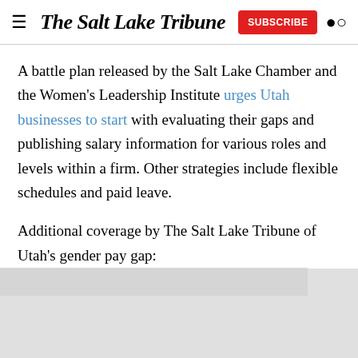The Salt Lake Tribune
A battle plan released by the Salt Lake Chamber and the Women's Leadership Institute urges Utah businesses to start with evaluating their gaps and publishing salary information for various roles and levels within a firm. Other strategies include flexible schedules and paid leave.
Additional coverage by The Salt Lake Tribune of Utah's gender pay gap: